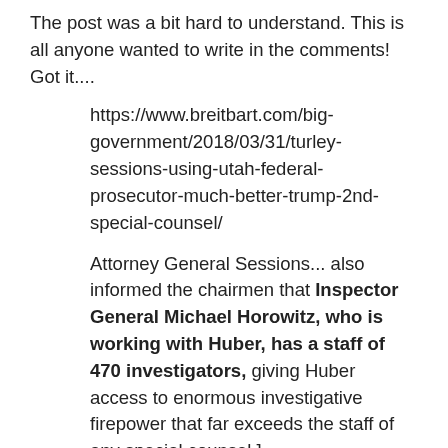The post was a bit hard to understand. This is all anyone wanted to write in the comments! Got it....
https://www.breitbart.com/big-government/2018/03/31/turley-sessions-using-utah-federal-prosecutor-much-better-trump-2nd-special-counsel/
Attorney General Sessions... also informed the chairmen that Inspector General Michael Horowitz, who is working with Huber, has a staff of 470 investigators, giving Huber access to enormous investigative firepower that far exceeds the staff of any special counsel.]
Even while Mueller appears to be going after the president, this is another clear insider “leak” that a far deeper agenda is at work.
Twitter user @damartin32 has been reporting on the efforts of a team of individuals who are systematically going